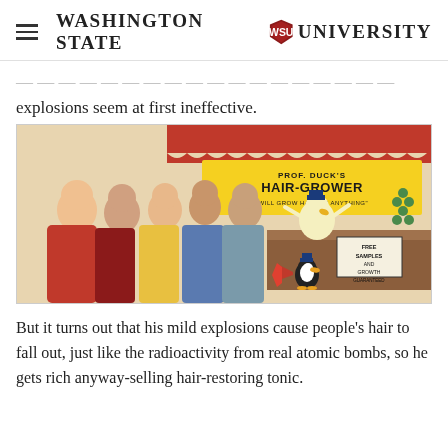Washington State University
…Duck is no man of a scientist, and his explosions seem at first ineffective.
[Figure (illustration): Comic illustration of Prof. Duck's Hair-Grower store with a cartoon duck behind a counter, a sign reading 'PROF. DUCK'S HAIR-GROWER - WILL GROW HAIR ON ANYTHING', a small duck with a megaphone, bald customers in line, and a sign reading 'FREE SAMPLES AND GROWTH GUARANTEED']
But it turns out that his mild explosions cause people's hair to fall out, just like the radioactivity from real atomic bombs, so he gets rich anyway-selling hair-restoring tonic.